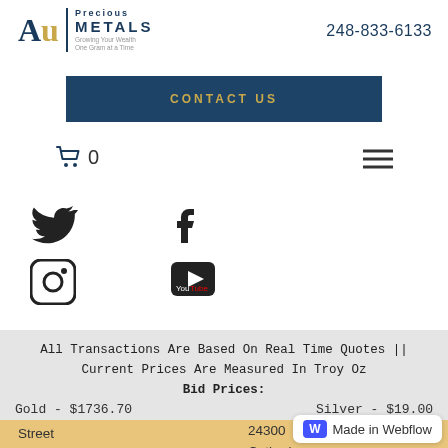[Figure (logo): Au Precious Metals logo with tagline 'Growing Your Wealth One Gram at a Time']
248-833-6133
CONTACT US
0
[Figure (illustration): Social media icons: Twitter, Facebook, Instagram, YouTube]
All Transactions Are Based On Real Time Quotes || Current Prices Are Measured In Troy Oz
Bid Prices:
Gold - $1736.70    Silver - $19.00
Ask Prices:
Gold - $1739.20    Silver - $19.08
Street
Rochester,
MI 48307
24300
Catherine Industrial Dr. Suite 405
Novi, MI 48375